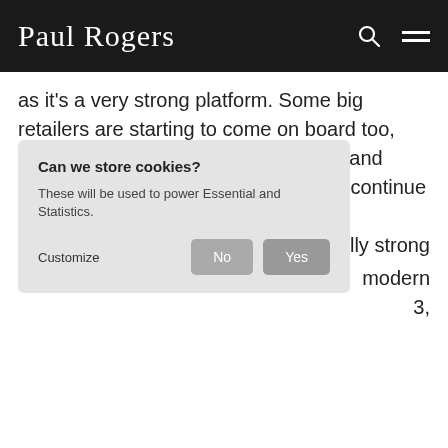Paul Rogers
as it’s a very strong platform. Some big retailers are starting to come on board too, including Lonely Planet, Reformation and Bouqs and, again, I think this will just continue to grow with their very
eally strong
modern
3,
ile-first, API-friendly commerce platform that is feature-rich, e use and highly flexible.
Some of the impressive features in the open source